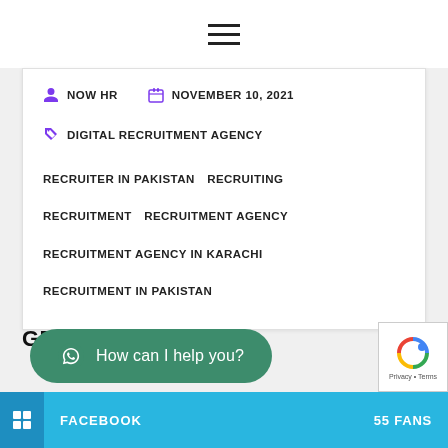Navigation menu (hamburger icon)
NOW HR   NOVEMBER 10, 2021
DIGITAL RECRUITMENT AGENCY
RECRUITER IN PAKISTAN   RECRUITING
RECRUITMENT   RECRUITMENT AGENCY
RECRUITMENT AGENCY IN KARACHI
RECRUITMENT IN PAKISTAN
GET IN TOUCH
How can I help you?
FACEBOOK   55 FANS